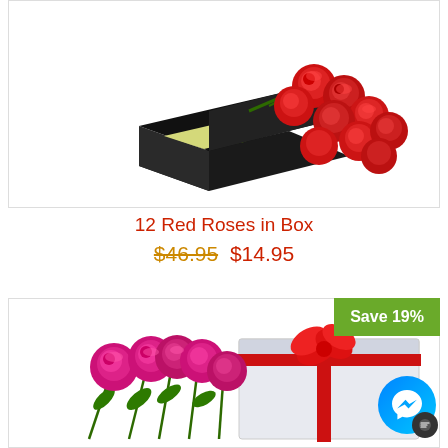[Figure (photo): Red roses arranged in an open black rectangular box with yellow-green interior and heart design on lid]
12 Red Roses in Box
$46.95 $14.95
[Figure (photo): Pink/hot pink roses next to a white gift box with red ribbon bow, Save 19% badge in top right corner]